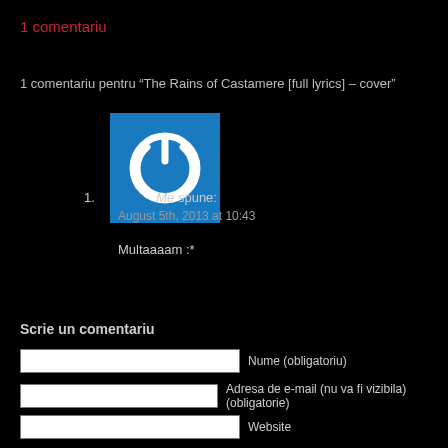1 comentariu
1 comentariu pentru “The Rains of Castamere [full lyrics] – cover”
[Figure (illustration): Blue square avatar with white power button icon]
1. Me spune:
August 5th, 2013 at 10:43

Multaaaam :*
Scrie un comentariu
Nume (obligatoriu)
Adresa de e-mail (nu va fi vizibila) (obligatorie)
Website